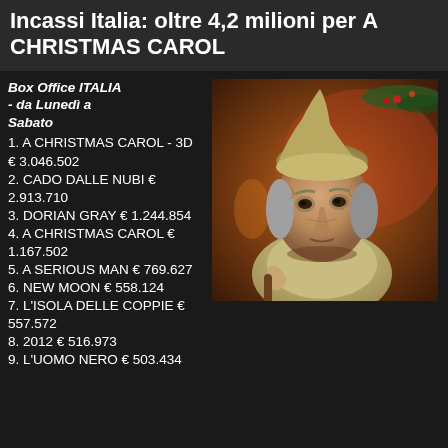Incassi Italia: oltre 4,2 milioni per A CHRISTMAS CAROL
Box Office ITALIA - da Lunedì a Sabato
1. A CHRISTMAS CAROL - 3D € 3.046.502
2. CADO DALLE NUBI € 2.913.710
3. DORIAN GRAY € 1.244.854
4. A CHRISTMAS CAROL € 1.167.502
5. A SERIOUS MAN € 769.627
6. NEW MOON € 558.124
7. L'ISOLA DELLE COPPIE € 557.572
8. 2012 € 516.973
9. L'UOMO NERO € 503.434
[Figure (photo): CGI animated character resembling Ebenezer Scrooge from A Christmas Carol - an elderly gaunt man with grey hair wearing a nightcap, holding a candle, with Christmas decorations in background]